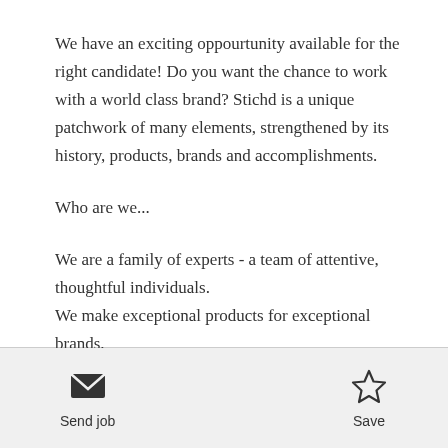We have an exciting oppourtunity available for the right candidate! Do you want the chance to work with a world class brand? Stichd is a unique patchwork of many elements, strengthened by its history, products, brands and accomplishments.
Who are we...
We are a family of experts - a team of attentive, thoughtful individuals.
We make exceptional products for exceptional brands.
Send job   Save